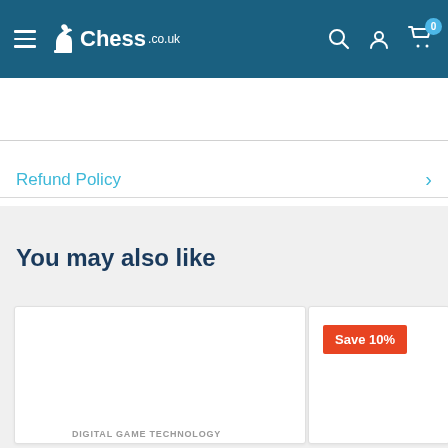Chess.co.uk navigation header with hamburger menu, logo, search, account, and cart icons
Refund Policy
You may also like
[Figure (screenshot): Product card (white) with Save 10% badge in red/orange, and a second partially visible product card. Below first card: DIGITAL GAME TECHNOLOGY label.]